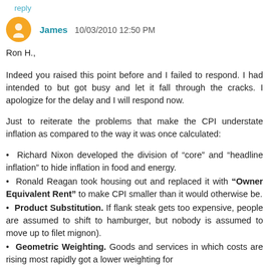Reply
James  10/03/2010 12:50 PM
Ron H.,
Indeed you raised this point before and I failed to respond. I had intended to but got busy and let it fall through the cracks. I apologize for the delay and I will respond now.
Just to reiterate the problems that make the CPI understate inflation as compared to the way it was once calculated:
Richard Nixon developed the division of “core” and “headline inflation” to hide inflation in food and energy.
Ronald Reagan took housing out and replaced it with “Owner Equivalent Rent” to make CPI smaller than it would otherwise be.
Product Substitution. If flank steak gets too expensive, people are assumed to shift to hamburger, but nobody is assumed to move up to filet mignon).
Geometric Weighting. Goods and services in which costs are rising most rapidly got a lower weighting for